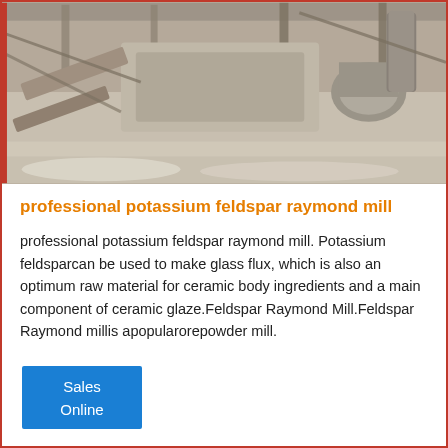[Figure (photo): Industrial interior of a feldspar or mineral processing facility showing large milling/processing machinery, conveyor systems, structural steel framework, pipes, and dusty floor in a warehouse-like building.]
professional potassium feldspar raymond mill
professional potassium feldspar raymond mill. Potassium feldsparcan be used to make glass flux, which is also an optimum raw material for ceramic body ingredients and a main component of ceramic glaze.Feldspar Raymond Mill.Feldspar Raymond millis apopularorepowder mill.
[Figure (other): Blue button/widget labeled 'Sales Online']